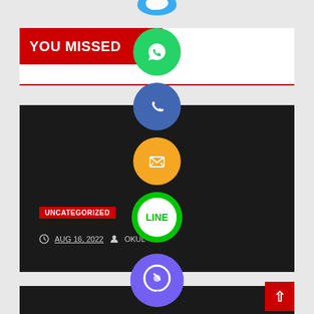[Figure (screenshot): Website page showing 'YOU MISSED' banner in red with social media sharing icons (WhatsApp, phone, email, LINE, Viber, close) overlapping content. Two dark blog post cards with UNCATEGORIZED badges and metadata. A red back-to-top button in the bottom right.]
YOU MISSED
UNCATEGORIZED
AUG 16, 2022
OKUL
UNCATEGORIZED